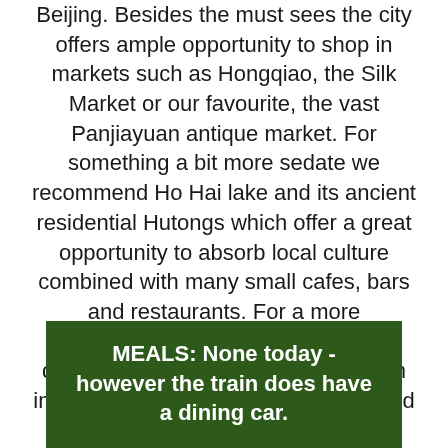Beijing. Besides the must sees the city offers ample opportunity to shop in markets such as Hongqiao, the Silk Market or our favourite, the vast Panjiayuan antique market. For something a bit more sedate we recommend Ho Hai lake and its ancient residential Hutongs which offer a great opportunity to absorb local culture combined with many small cafes, bars and restaurants. For a more contemporary experience the 798 district to the east of the city offers an impressive array of galleries, cafes and restaurants.
MEALS: None today - however the train does have a dining car.